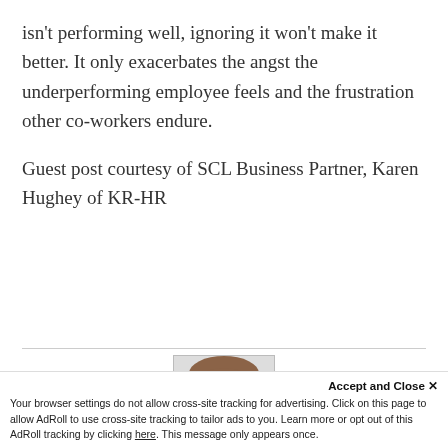isn't performing well, ignoring it won't make it better. It only exacerbates the angst the underperforming employee feels and the frustration other co-workers endure.
Guest post courtesy of SCL Business Partner, Karen Hughey of KR-HR
[Figure (photo): Headshot photo of Karen Hughey]
Accept and Close ✕
Your browser settings do not allow cross-site tracking for advertising. Click on this page to allow AdRoll to use cross-site tracking to tailor ads to you. Learn more or opt out of this AdRoll tracking by clicking here. This message only appears once.